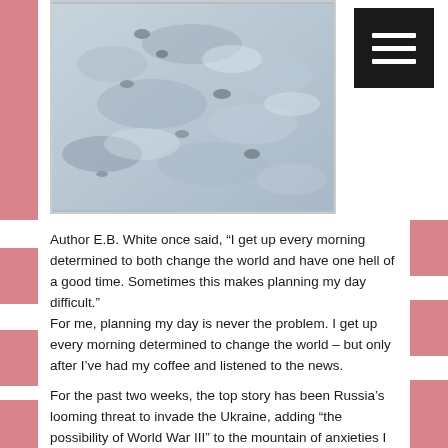[Figure (photo): Aerial or close-up photograph of snow and ice formations on the ground, showing tracks or impressions in the snow with a gray-blue tonality.]
Author E.B. White once said, “I get up every morning determined to both change the world and have one hell of a good time. Sometimes this makes planning my day difficult.”
For me, planning my day is never the problem. I get up every morning determined to change the world – but only after I’ve had my coffee and listened to the news.
For the past two weeks, the top story has been Russia’s looming threat to invade the Ukraine, adding “the possibility of World War III” to the mountain of anxieties I already have. With the pandemic, the climate crisis, gun violence, greed, racism, and more, it’s a Mount Everest of despair. It feels so impossible to change anything, let